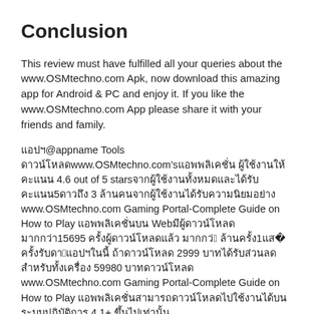Conclusion
This review must have fulfilled all your queries about the www.OSMtechno.com Apk, now download this amazing app for Android & PC and enjoy it. If you like the www.OSMtechno.com App please share it with your friends and family.
แอปฯ@appname‎ Tools ดาวน์โหลดwww.OSMtechno.com's‎แอปพลิเคชั่น ผู้ใช้งานให้คะแนน 4.6 out of 5 starsจากผู้ใช้งานทั้งหมดและได้รับคะแนน5ดาวถึง 3 ล้านคนจากผู้ใช้งานได้รับความนิยมอย่าง www.OSMtechno.com Gaming Portal-Complete Guide on How to Play แอปพลิเคชั่นบน Webมีผู้ดาวน์โหลด มากกว่า15695 ครั้งผู้ดาวน์โหลดแล้ว มากกว่า38 ล้านครั้ง1แสน11778 ครั้งรับดาวน์5แอปฯในนี้ ถ้าดาวน์โหลด 2999 บาทได้รับส่วนลดสำหรับทั้งเครื่อง 59980 บาทดาวน์โหลด www.OSMtechno.com Gaming Portal-Complete Guide on How to Play แอปพลิเคชั่นสามารถดาวน์โหลดไปใช้งานได้บนระบบปฏิบัติการ 4.1+ ขึ้นไปเท่านั้น